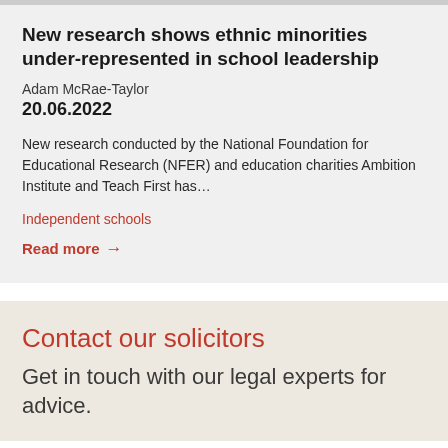New research shows ethnic minorities under-represented in school leadership
Adam McRae-Taylor
20.06.2022
New research conducted by the National Foundation for Educational Research (NFER) and education charities Ambition Institute and Teach First has…
Independent schools
Read more →
Contact our solicitors
Get in touch with our legal experts for advice.